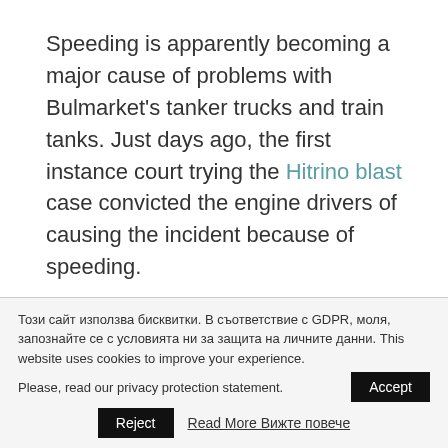Speeding is apparently becoming a major cause of problems with Bulmarket's tanker trucks and train tanks. Just days ago, the first instance court trying the Hitrino blast case convicted the engine drivers of causing the incident because of speeding.
It is not moral, but it is legal
Before the Hitrino incident, Stankov had been
Този сайт използва бисквитки. В съответствие с GDPR, моля, запознайте се с условията ни за защита на личните данни. This website uses cookies to improve your experience. Please, read our privacy protection statement.